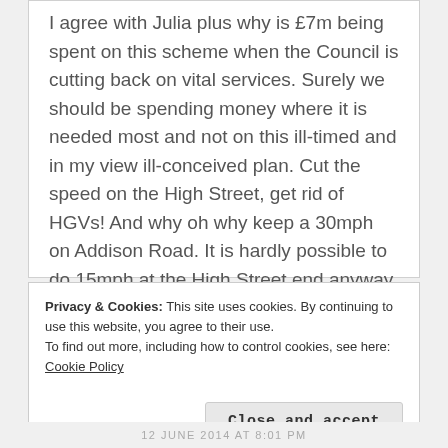I agree with Julia plus why is £7m being spent on this scheme when the Council is cutting back on vital services. Surely we should be spending money where it is needed most and not on this ill-timed and in my view ill-conceived plan. Cut the speed on the High Street, get rid of HGVs! And why oh why keep a 30mph on Addison Road. It is hardly possible to do 15mph at the High Street end anyway. Overall bad use of public (mine and our) money for political ends.
★ Like
Privacy & Cookies: This site uses cookies. By continuing to use this website, you agree to their use.
To find out more, including how to control cookies, see here: Cookie Policy
Close and accept
12 JUNE 2014 AT 8:01 PM